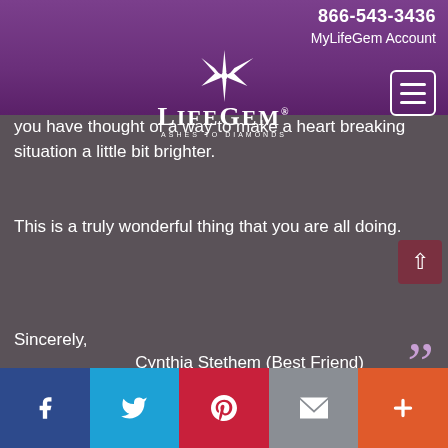866-543-3436 MyLifeGem Account
[Figure (logo): LifeGem Ashes to Diamonds logo with starburst icon, white text on purple background]
you have thought of a way to make a heart breaking situation a little bit brighter.
This is a truly wonderful thing that you are all doing.
Sincerely,
Cynthia Stethem (Best Friend)
Hi Rusty,
Facebook Twitter Pinterest Email More